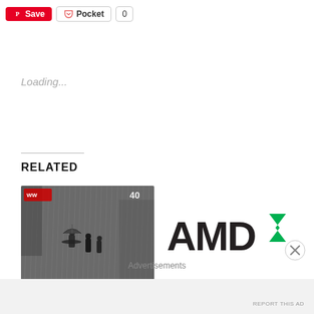[Figure (screenshot): Social sharing buttons row: Pinterest Save button (red), Pocket button (white with border), and count badge showing 0]
Loading...
RELATED
[Figure (photo): Black and white film scene showing silhouetted figures walking in rain, with a watermark showing '40' in the top right corner]
[Figure (logo): AMD logo in dark charcoal and green arrow mark]
Advertisements
REPORT THIS AD